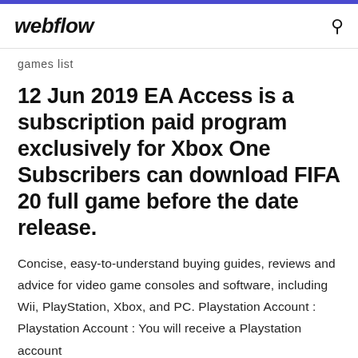webflow
games list
12 Jun 2019 EA Access is a subscription paid program exclusively for Xbox One Subscribers can download FIFA 20 full game before the date release.
Concise, easy-to-understand buying guides, reviews and advice for video game consoles and software, including Wii, PlayStation, Xbox, and PC. Playstation Account : Playstation Account : You will receive a Playstation account